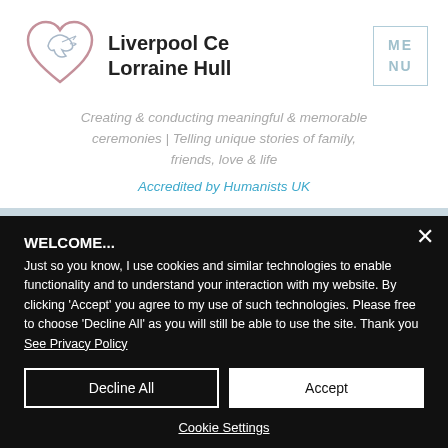[Figure (logo): Heart with dove logo for Liverpool Celebrant Lorraine Hull]
Liverpool Ce[lebrant] Lorraine Hull
Creating & conducting meaningful & memorable ceremonies | Telling unique stories of family, friends, love & life
Accredited by Humanists UK
WELCOME...
Just so you know, I use cookies and similar technologies to enable functionality and to understand your interaction with my website. By clicking 'Accept' you agree to my use of such technologies. Please free to choose 'Decline All' as you will still be able to use the site. Thank you See Privacy Policy
Decline All
Accept
Cookie Settings